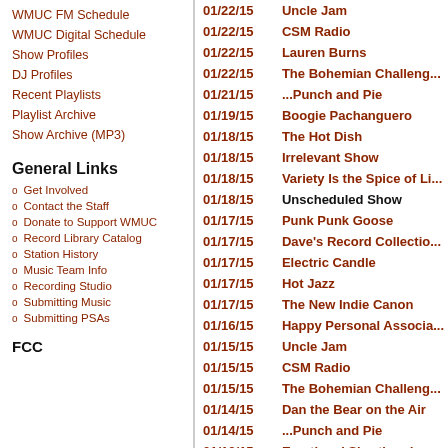WMUC FM Schedule
WMUC Digital Schedule
Show Profiles
DJ Profiles
Recent Playlists
Playlist Archive
Show Archive (MP3)
General Links
Get Involved
Contact the Staff
Donate to Support WMUC
Record Library Catalog
Station History
Music Team Info
Recording Studio
Submitting Music
Submitting PSAs
FCC
| Date | Show |
| --- | --- |
| 01/22/15 | Uncle Jam |
| 01/22/15 | CSM Radio |
| 01/22/15 | Lauren Burns |
| 01/22/15 | The Bohemian Challeng... |
| 01/21/15 | ...Punch and Pie |
| 01/19/15 | Boogie Pachanguero |
| 01/18/15 | The Hot Dish |
| 01/18/15 | Irrelevant Show |
| 01/18/15 | Variety Is the Spice of Li... |
| 01/18/15 | Unscheduled Show |
| 01/17/15 | Punk Punk Goose |
| 01/17/15 | Dave's Record Collectio... |
| 01/17/15 | Electric Candle |
| 01/17/15 | Hot Jazz |
| 01/17/15 | The New Indie Canon |
| 01/16/15 | Happy Personal Associa... |
| 01/15/15 | Uncle Jam |
| 01/15/15 | CSM Radio |
| 01/15/15 | The Bohemian Challeng... |
| 01/14/15 | Dan the Bear on the Air |
| 01/14/15 | ...Punch and Pie |
| 01/13/15 | Emotional Shorthand |
| 01/12/15 | Boogie Pachanguero |